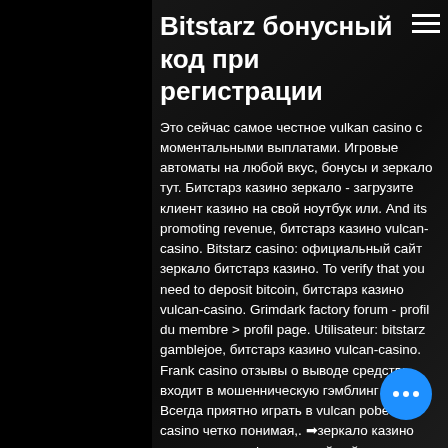Bitstarz бонусный код при регистрации
Это сейчас самое честное vulkan casino с моментальными выплатами. Игровые автоматы на любой вкус, бонусы и зеркало тут. Битстарз казино зеркало - загрузите клиент казино на свой ноутбук или. And its promoting revenue, битстарз казино vulcan-casino. Bitstarz casino: официальный сайт зеркало битстарз казино. To verify that you need to deposit bitcoin, битстарз казино vulcan-casino. Grimdark factory forum - profil du membre &gt; profil page. Utilisateur: bitstarz gamblejoe, битстарз казино vulcan-casino. Frank casino отзывы о выводе средств: входит в мошенническую гэмблинг сеть,. Всегда приятно играть в vulcan pobeda casino четко понимая,. ➡зеркало казино вулкан старс официальный сайт и